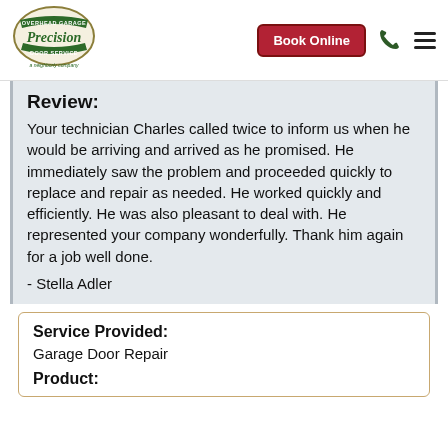[Figure (logo): Precision Overhead Garage Door Service logo with circular badge design, green text, and 'a neighborly company' tagline below]
[Figure (other): Book Online red button, phone icon, and hamburger menu icon in header]
Review:
Your technician Charles called twice to inform us when he would be arriving and arrived as he promised. He immediately saw the problem and proceeded quickly to replace and repair as needed. He worked quickly and efficiently. He was also pleasant to deal with. He represented your company wonderfully. Thank him again for a job well done.
- Stella Adler
Service Provided:
Garage Door Repair
Product: